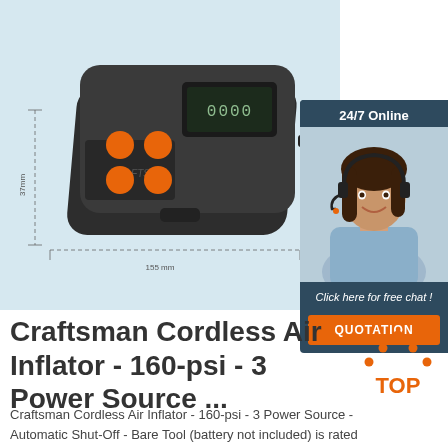[Figure (photo): Product photo of a cordless air inflator device (black with orange buttons and digital display) on a light blue background with dimension lines. Also includes a 24/7 online chat widget with a woman wearing a headset.]
Craftsman Cordless Air Inflator - 160-psi - 3 Power Source ...
Craftsman Cordless Air Inflator - 160-psi - 3 Power Source - Automatic Shut-Off - Bare Tool (battery not included) is rated 4.2 out of 5 by 136